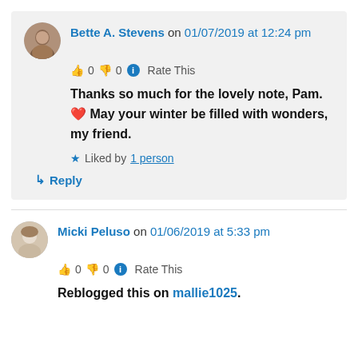Bette A. Stevens on 01/07/2019 at 12:24 pm
👍 0 👎 0 ℹ Rate This
Thanks so much for the lovely note, Pam. ❤ May your winter be filled with wonders, my friend.
★ Liked by 1 person
↳ Reply
Micki Peluso on 01/06/2019 at 5:33 pm
👍 0 👎 0 ℹ Rate This
Reblogged this on mallie1025.